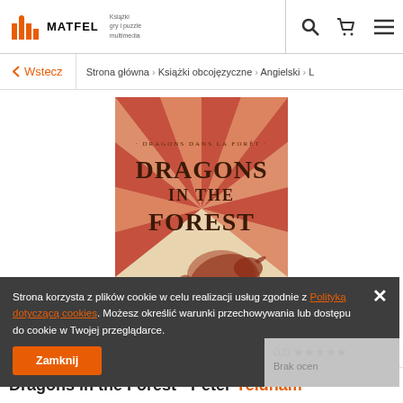[Figure (logo): MATFEL logo with orange building icon and subtitle: Książki, gry i puzzle, multimedia]
[Figure (screenshot): Breadcrumb navigation: back arrow Wstecz | Strona główna > Książki obcojęzyczne > Angielski > L]
[Figure (photo): Book cover: Dragons in the Forest by Peter Yeldham, red and beige sun-ray design with dragon illustration]
Strona korzysta z plików cookie w celu realizacji usług zgodnie z Polityką dotyczącą cookies. Możesz określić warunki przechowywania lub dostępu do cookie w Twojej przeglądarce.
Zamknij
0.0 Brak ocen
Dragons in the Forest - Peter Yeldham